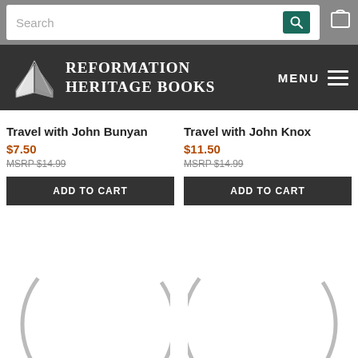Search bar with search icon and cart icon
[Figure (logo): Reformation Heritage Books logo with open book icon and white text on dark background, with MENU hamburger button]
Travel with John Bunyan
$7.50
MSRP $14.99
ADD TO CART
Travel with John Knox
$11.50
MSRP $14.99
ADD TO CART
[Figure (other): Loading spinner circle, partially visible]
[Figure (other): Loading spinner circle, partially visible]